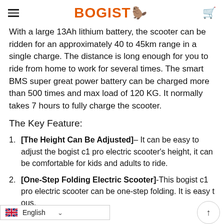BOGIST
With a large 13Ah lithium battery, the scooter can be ridden for an approximately 40 to 45km range in a single charge. The distance is long enough for you to ride from home to work for several times. The smart BMS super great power battery can be charged more than 500 times and max load of 120 KG. It normally takes 7 hours to fully charge the scooter.
The Key Feature:
[The Height Can Be Adjusted]– It can be easy to adjust the bogist c1 pro electric scooter's height, it can be comfortable for kids and adults to ride.
[One-Step Folding Electric Scooter]-This bogist c1 pro electric scooter can be one-step folding. It is easy t…ous.